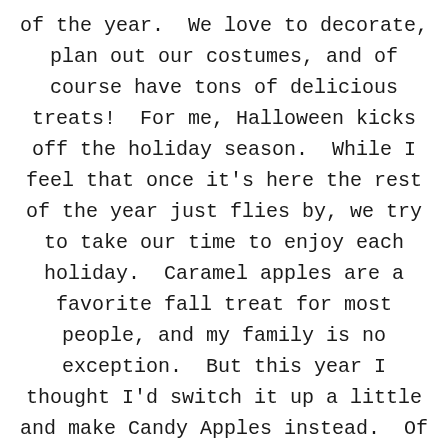of the year.  We love to decorate, plan out our costumes, and of course have tons of delicious treats!  For me, Halloween kicks off the holiday season.  While I feel that once it's here the rest of the year just flies by, we try to take our time to enjoy each holiday.  Caramel apples are a favorite fall treat for most people, and my family is no exception.  But this year I thought I'd switch it up a little and make Candy Apples instead.  Of course since it's getting close to Halloween, I decided to make them Perfectly Poisoned Apples!